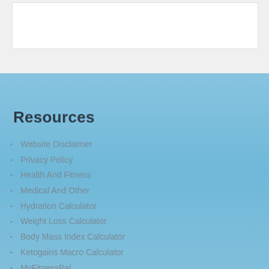Resources
Website Disclaimer
Privacy Policy
Health And Fitness
Medical And Other
Hydration Calculator
Weight Loss Calculator
Body Mass Index Calculator
Ketogains Macro Calculator
MyFitnessPal
Top Ten Trigger Points